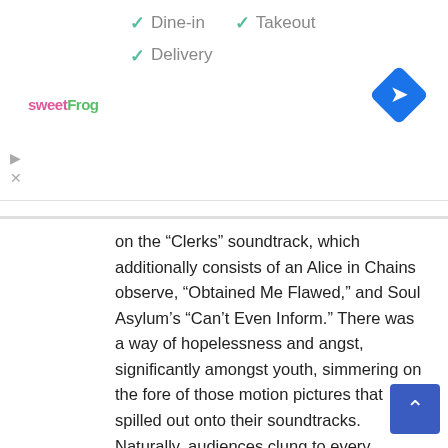[Figure (screenshot): Ad banner showing sweetFrog logo with Dine-in, Takeout, Delivery checkmarks and a blue navigation diamond icon]
on the “Clerks” soundtrack, which additionally consists of an Alice in Chains observe, “Obtained Me Flawed,” and Soul Asylum’s “Can’t Even Inform.” There was a way of hopelessness and angst, significantly amongst youth, simmering on the fore of those motion pictures that spilled out onto their soundtracks. Naturally, audiences clung to every observe.
“There was this rediscovery of youth tradition,” Hite defined. “So, you had new wave, punk, heavy steel — and all of those have been marketable objects. Films like ‘Singles’ have